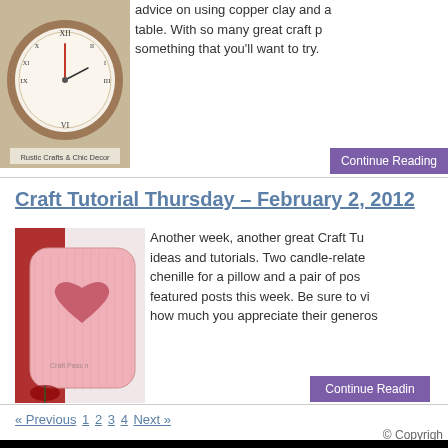[Figure (photo): Photo of a rustic wooden clock with Roman numerals on a wall, with text overlay 'Rustic Crafts & Chic Decor']
advice on using copper clay and a table. With so many great craft p something that you'll want to try.
Continue Reading
Craft Tutorial Thursday – February 2, 2012
[Figure (photo): Photo of a pink heart pillow on a white surface with a red rose, watermark 'Craft Passion']
Another week, another great Craft Tu ideas and tutorials. Two candle-relate chenille for a pillow and a pair of pos featured posts this week. Be sure to vi how much you appreciate their generos
Continue Readin
« Previous 1 2 3 4 Next »
© Copyrigh